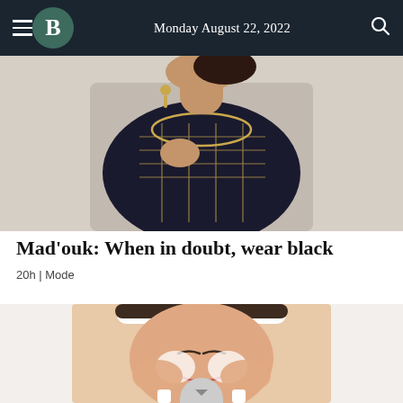Monday August 22, 2022
[Figure (photo): Woman wearing a black and gold embroidered traditional outfit with chandelier earrings, hand on chest against a light background]
Mad'ouk: When in doubt, wear black
20h | Mode
[Figure (photo): Woman smiling with eyes closed, washing face with foam, wearing a white headband and white top]